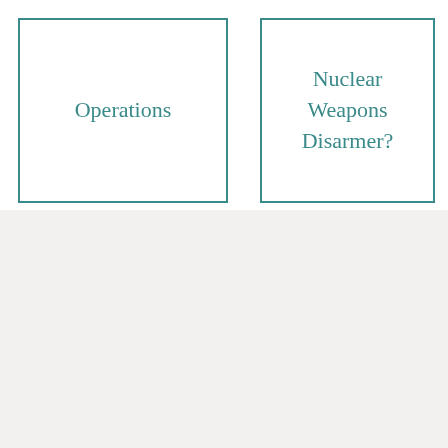Operations
Nuclear Weapons Disarmer?